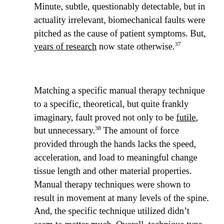Minute, subtle, questionably detectable, but in actuality irrelevant, biomechanical faults were pitched as the cause of patient symptoms. But, years of research now state otherwise.37
Matching a specific manual therapy technique to a specific, theoretical, but quite frankly imaginary, fault proved not only to be futile, but unnecessary.38 The amount of force provided through the hands lacks the speed, acceleration, and load to meaningful change tissue length and other material properties. Manual therapy techniques were shown to result in movement at many levels of the spine. And, the specific technique utilized didn’t seem to matter much. Overall, technique type, long lever vs. short lever, speed, and exact level of the spine didn’t seem to matter much either. Predictors of response to treatment did not include classical palpation and hands on motion testing. Fear avoidance beliefs and length of symptoms did however. The